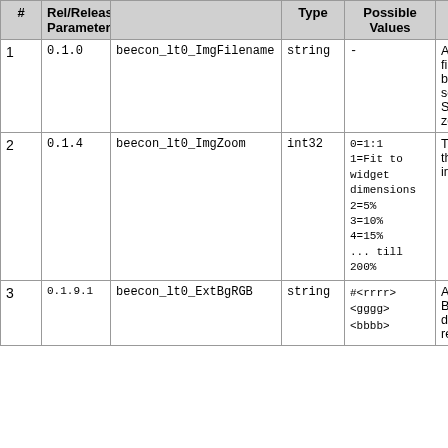| # | Rel/Release Parameter | Type | Possible Values | Description |
| --- | --- | --- | --- | --- |
| 1 | 0.1.0	beecon_lt0_ImgFilename | string | - | Applies to Beecons; filename of image to be displayed if script/command returns a Status less than zero |
| 2 | 0.1.4	beecon_lt0_ImgZoom | int32 | 0=1:1
1=Fit to widget dimensions
2=5%
3=10%
4=15%
... till
200% | This is the zoom/scale of the previous parameter image (1:1, 5%-200%) |
| 3 | 0.1.9.1	beecon_lt0_ExtBgRGB | string | #<rrrr>
<gggg>
<bbbb> | Applies to Beecons; Background color to be displayed if script/command returns a Status les |